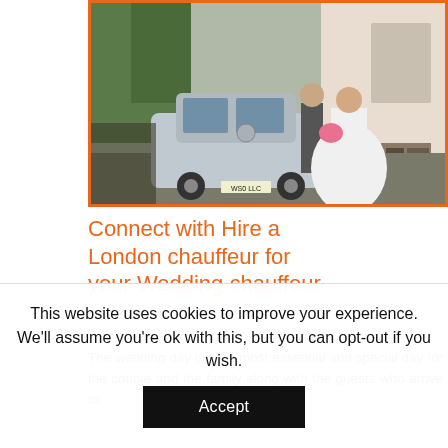[Figure (photo): Wedding photo showing a bride in a white ball gown and a groom in a suit standing next to a silver Mercedes car in front of a building, with an orange border frame around the image.]
Connect with Hire a London chauffeur for your Wedding chauffeur
The wedding day is life's most essential and special day for the couple and the family along with the guests who arrive to
This website uses cookies to improve your experience. We'll assume you're ok with this, but you can opt-out if you wish.
Accept